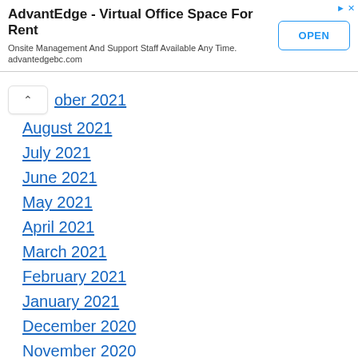[Figure (other): Advertisement banner for AdvantEdge Virtual Office Space For Rent with OPEN button]
ober 2021
August 2021
July 2021
June 2021
May 2021
April 2021
March 2021
February 2021
January 2021
December 2020
November 2020